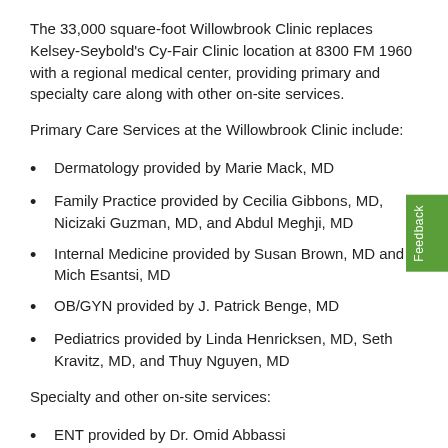The 33,000 square-foot Willowbrook Clinic replaces Kelsey-Seybold's Cy-Fair Clinic location at 8300 FM 1960 with a regional medical center, providing primary and specialty care along with other on-site services.
Primary Care Services at the Willowbrook Clinic include:
Dermatology provided by Marie Mack, MD
Family Practice provided by Cecilia Gibbons, MD, Nicizaki Guzman, MD, and Abdul Meghji, MD
Internal Medicine provided by Susan Brown, MD and Mich Esantsi, MD
OB/GYN provided by J. Patrick Benge, MD
Pediatrics provided by Linda Henricksen, MD, Seth Kravitz, MD, and Thuy Nguyen, MD
Specialty and other on-site services:
ENT provided by Dr. Omid Abbassi